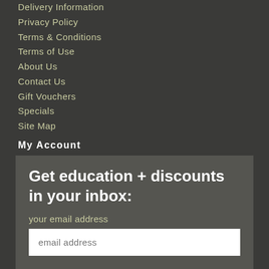Delivery Information
Privacy Policy
Terms & Conditions
Terms of Use
About Us
Contact Us
Gift Vouchers
Specials
Site Map
My Account
My Account
Order History
Wish List
Newsletter
Get education + discounts in your inbox:
your email address
email address